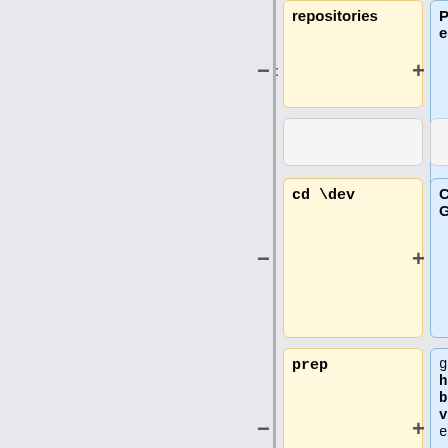[Figure (flowchart): A flowchart/diff view showing two parallel columns connected by a vertical line with plus and minus branch symbols. Left column (yellow boxes): 'repositories', blank, 'cd \dev', 'prep', 'git clone git://mumble.git.sourceforge.net/gitroot/mumble'. Right column (blue boxes): 'Preparing the environment ==', blank, 'Clone Mumble's Git repository', 'git clone https://github.com/mumble-voip/mumble.git'. Plus and minus signs denote additions/deletions.]